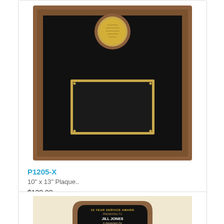[Figure (photo): Walnut plaque with black background, gold coin medallion at top center, and gold-bordered rectangular engraving plate in the center]
P1205-X
10" x 13" Plaque..
$138.00
[Figure (photo): Walnut shield-shaped plaque with black engraving area showing text: 15 YEAR SERVICE AWARD, PRESENTED TO, JILL JONES, In Appreciation For, Your Service And Dedication, To The Company]